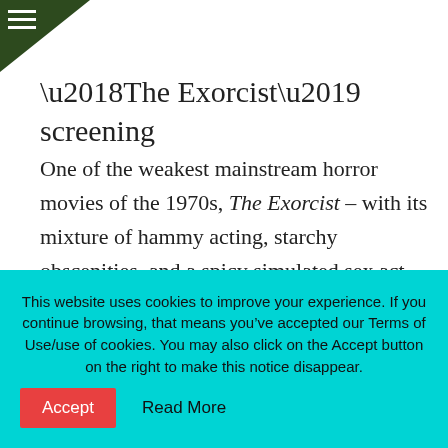‘The Exorcist’ screening
One of the weakest mainstream horror movies of the 1970s, The Exorcist – with its mixture of hammy acting, starchy obscenities, and a spicy simulated sex act with a cross, all topped with vomited avocado sauce – somehow managed to become a box office phenomenon. The film will be shown at the Samuel Goldwyn Theater on Aug.
This website uses cookies to improve your experience. If you continue browsing, that means you’ve accepted our Terms of Use/use of cookies. You may also click on the Accept button on the right to make this notice disappear.